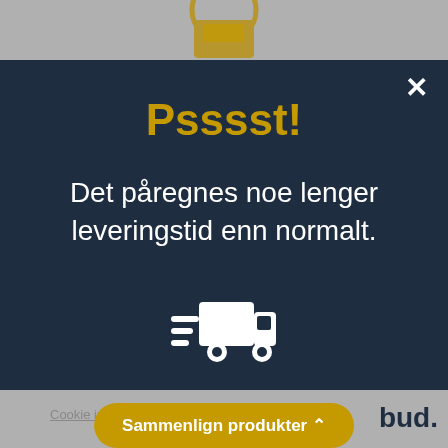[Figure (screenshot): Background gray page with partial shopping bag icon at top center]
Psssst!
Det påregnes noe lenger leveringstid enn normalt.
[Figure (illustration): White delivery truck icon with speed lines]
Cookie innstillinger  OK  bud.
Sammenlign produkter ⌃